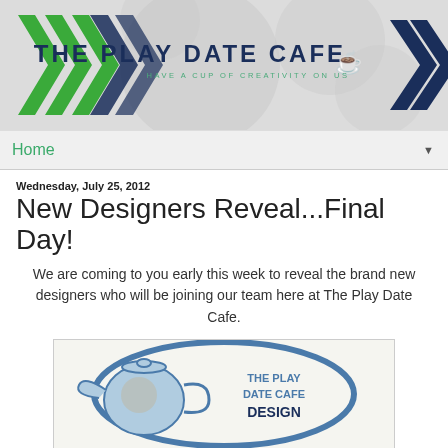[Figure (logo): The Play Date Cafe banner with green and navy chevrons, circular decorative elements in gray, bold navy text 'THE PLAY DATE CAFE', teal subtitle 'HAVE A CUP OF CREATIVITY ON US', and a coffee cup icon]
Home
Wednesday, July 25, 2012
New Designers Reveal...Final Day!
We are coming to you early this week to reveal the brand new designers who will be joining our team here at The Play Date Cafe.
[Figure (logo): The Play Date Cafe Design Team logo with a teapot illustration, blue oval badge, and text 'THE PLAY DATE CAFE DESIGN']